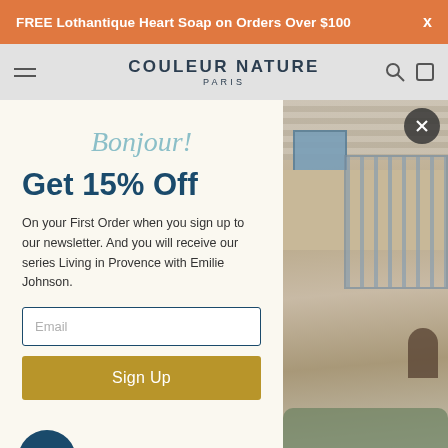FREE Lothantique Heart Soap on Orders Over $100  x
[Figure (logo): Couleur Nature Paris brand logo in navigation bar]
Bonjour!
Get 15% Off
On your First Order when you sign up to our newsletter. And you will receive our series Living in Provence with Emilie Johnson.
[Figure (photo): Outdoor scene with woman at stone pool or fountain, architectural elements with blue shutters in background]
Sign Up
COMPANY